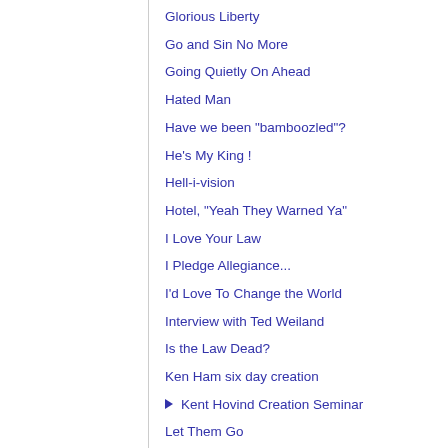Glorious Liberty
Go and Sin No More
Going Quietly On Ahead
Hated Man
Have we been "bamboozled"?
He's My King !
Hell-i-vision
Hotel, "Yeah They Warned Ya"
I Love Your Law
I Pledge Allegiance...
I'd Love To Change the World
Interview with Ted Weiland
Is the Law Dead?
Ken Ham six day creation
Kent Hovind Creation Seminar
Let Them Go
little faith
Make Mention of His Holy Name
Mt. St. Helens creation evidence
New American Puritan Bible Study Series
No king but KING YESHUA!
No Stairways